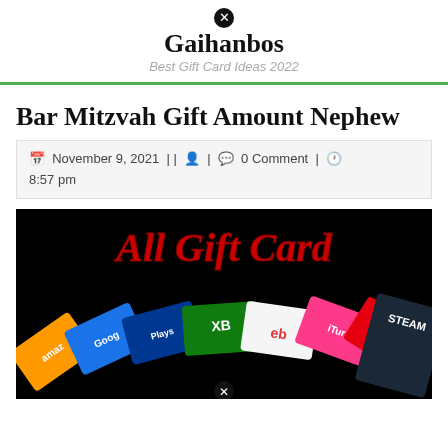Gaihanbos — Best Gift Card Ideas 2022
Bar Mitzvah Gift Amount Nephew
November 9, 2021 || 0 Comment | 8:57 pm
[Figure (photo): Photo showing multiple gift cards (Amazon, Google, PlayStation, Xbox, eBay, iTunes, Nintendo, Steam) fanned out on a black background with red text 'All Gift Card' at the top]